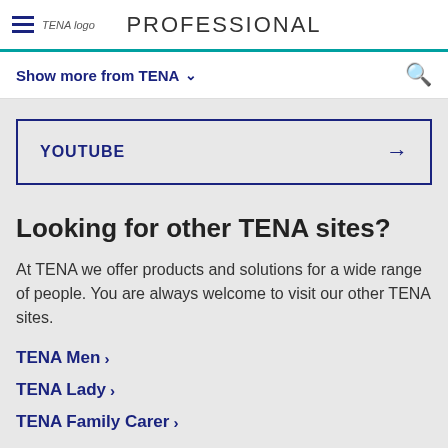TENA logo | PROFESSIONAL
Show more from TENA
YOUTUBE →
Looking for other TENA sites?
At TENA we offer products and solutions for a wide range of people. You are always welcome to visit our other TENA sites.
TENA Men ›
TENA Lady ›
TENA Family Carer ›